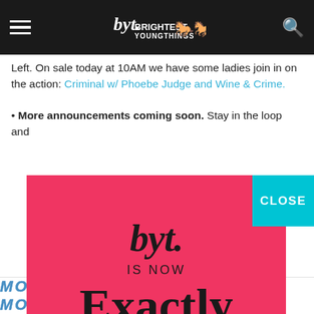BYT Brightest Young Things navigation bar
Left. On sale today at 10AM we have some ladies join in on the action: Criminal w/ Phoebe Judge and Wine & Crime.
• More announcements coming soon. Stay in the loop and
[Figure (advertisement): Red advertisement box with BYT logo in script, text 'IS NOW', large serif 'Exactly' text, and 'VISIT US AT WWW.EXACTLYAGENCY.COM'. A teal 'CLOSE' button appears at top right corner of the ad.]
MORE READS ON BYT FIND MORE NOW